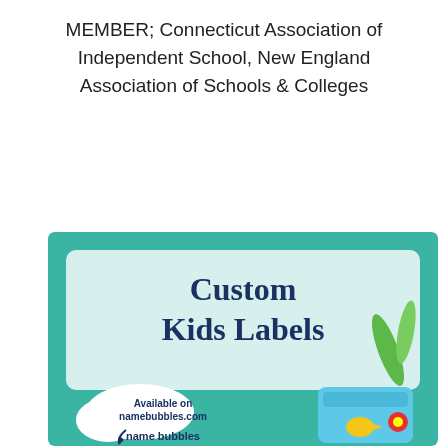MEMBER; Connecticut Association of Independent School, New England Association of Schools & Colleges
[Figure (illustration): Advertisement for Custom Kids Labels available on namebubbles.com / name bubbles, featuring teal background, illustrated kids items (lunch box, leaves), white cloud shapes, and bold navy blue text.]